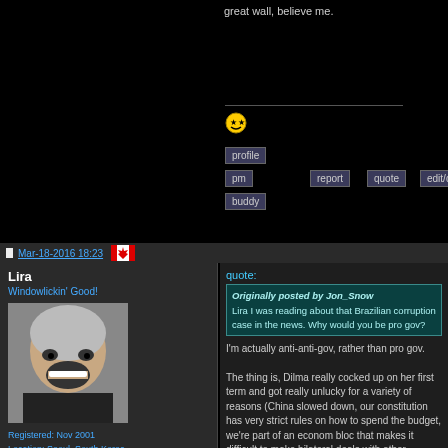great wall, believe me.
[Figure (illustration): Yellow smiley face emoji with star eyes]
Mar-18-2016 18:23
[Figure (illustration): Canadian flag icon]
Lira
Windowlickin' Good!
[Figure (photo): Profile photo of an older man with white hair grinning]
Registered: Nov 2001
Location: Seoul, South Korea
Originally from: Brasilia, Brazil
quote:
Originally posted by Jon_Snow
Lira I was reading about that Brazilian corruption case in the news. Why would you be pro gov?

I'm actually anti-anti-gov, rather than pro gov.

The thing is, Dilma really cocked up on her first term and got really unlucky for a variety of reasons (China slowed down, our constitution has very strict rules on how to spend the budget, we're part of an economic bloc that makes it difficult to make bilateral deals with other countries). So, when our economy collapsed after her re-election, there were immediate calls for impeachment, even though that's not a val...